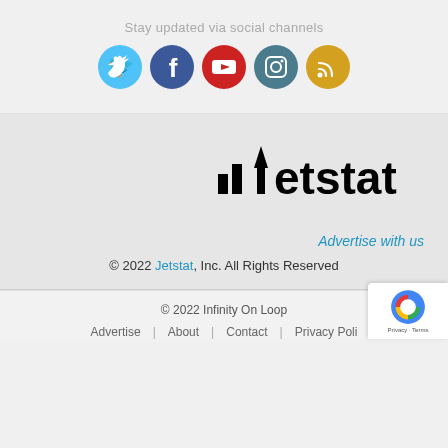Stay updated via social channels
[Figure (illustration): Five social media icons in colored circles: Twitter (blue), Facebook (dark blue), YouTube (red), Instagram (teal), RSS (orange/yellow)]
[Figure (logo): Jetstat logo with upward arrow incorporated into the letter J, bold black text reading 'jetstat']
Advertise with us
© 2022 Jetstat, Inc. All Rights Reserved
© 2022 Infinity On Loop
Advertise | About | Contact | Privacy Poli...